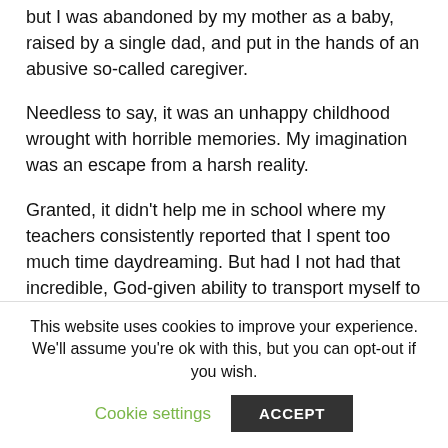but I was abandoned by my mother as a baby, raised by a single dad, and put in the hands of an abusive so-called caregiver.
Needless to say, it was an unhappy childhood wrought with horrible memories. My imagination was an escape from a harsh reality.
Granted, it didn't help me in school where my teachers consistently reported that I spent too much time daydreaming. But had I not had that incredible, God-given ability to transport myself to another time and place, I don't think I would've survived growing up.
I devoured fantasy books and movies. Delving into the minds
This website uses cookies to improve your experience. We'll assume you're ok with this, but you can opt-out if you wish.
Cookie settings
ACCEPT